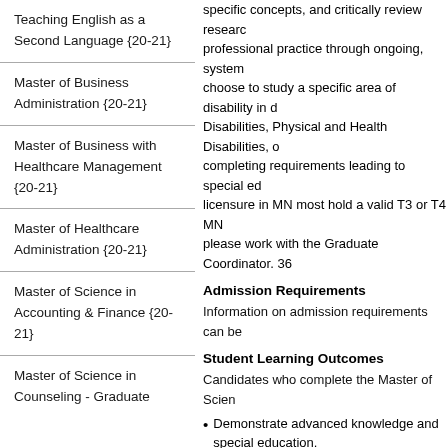Teaching English as a Second Language {20-21}
Master of Business Administration {20-21}
Master of Business with Healthcare Management {20-21}
Master of Healthcare Administration {20-21}
Master of Science in Accounting & Finance {20-21}
Master of Science in Counseling - Graduate
specific concepts, and critically review research... professional practice through ongoing, system... choose to study a specific area of disability in d... Disabilities, Physical and Health Disabilities, o... completing requirements leading to special ed... licensure in MN most hold a valid T3 or T4 MN... please work with the Graduate Coordinator. 36...
Admission Requirements
Information on admission requirements can be...
Student Learning Outcomes
Candidates who complete the Master of Scien...
Demonstrate advanced knowledge and... special education.
Demonstrate advanced knowledge abo...
Demonstrate the ability to assume the... appropriate dispositions for teaching.
Demonstrate the ability to plan and con...
Demonstrate the ability to analyze, rep... of special education.
Demonstrate advanced application of a... students.
Demonstrate the ability to make assisti...